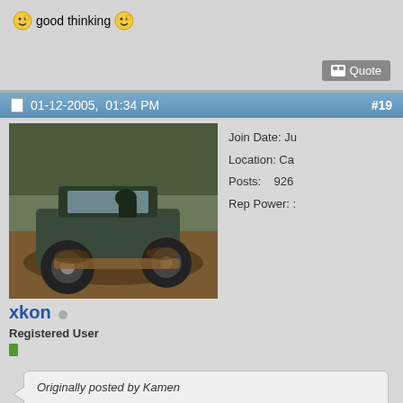good thinking
Quote
01-12-2005, 01:34 PM #19
[Figure (photo): Photo of a Jeep driving through muddy terrain with trees in background]
Join Date: Ju
Location: Ca
Posts: 926
Rep Power: :
xkon
Registered User
Originally posted by Kamen
He didn't make that comparison. He just said that OS9's crappiness has no relevance to anything since it's been replaced by OSX.